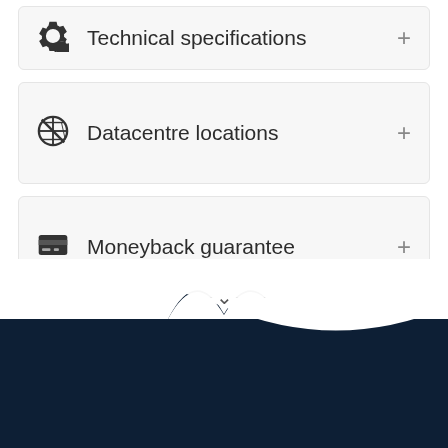Technical specifications
Datacentre locations
Moneyback guarantee
[Figure (illustration): Dark navy footer section with wave cutout at top revealing white background, with a downward chevron arrow at the peak of the wave]